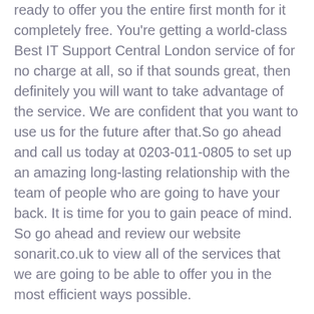ready to offer you the entire first month for it completely free. You're getting a world-class Best IT Support Central London service of for no charge at all, so if that sounds great, then definitely you will want to take advantage of the service. We are confident that you want to use us for the future after that.So go ahead and call us today at 0203-011-0805 to set up an amazing long-lasting relationship with the team of people who are going to have your back. It is time for you to gain peace of mind. So go ahead and review our website sonarit.co.uk to view all of the services that we are going to be able to offer you in the most efficient ways possible.